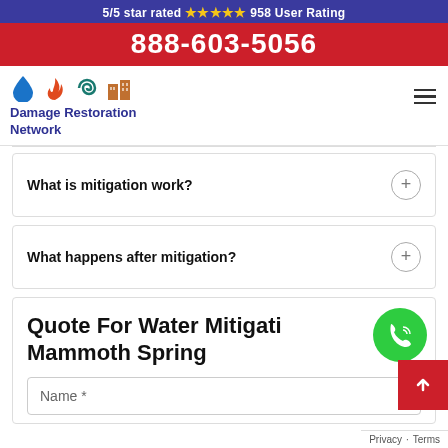5/5 star rated ⭐⭐⭐⭐⭐ 958 User Rating
888-603-5056
[Figure (logo): Damage Restoration Network logo with water drop, fire, storm, and building icons]
What is mitigation work?
What happens after mitigation?
Quote For Water Mitigation Mammoth Spring
Name *